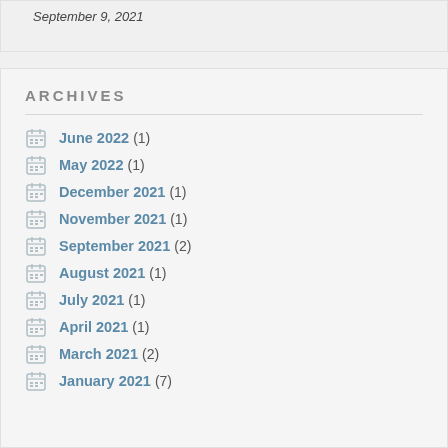September 9, 2021
ARCHIVES
June 2022 (1)
May 2022 (1)
December 2021 (1)
November 2021 (1)
September 2021 (2)
August 2021 (1)
July 2021 (1)
April 2021 (1)
March 2021 (2)
January 2021 (7)